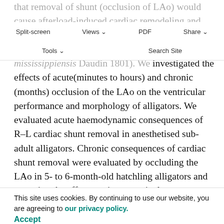that removal of shunt (occlusion of LAo) would cause afterload-induced cardiac remodeling and would adversely affect diving performance of surgically altered American alligator (Alligator mississippiensis Daudin 1801). We investigated the effects of acute(minutes to hours) and chronic (months) occlusion of the LAo on the ventricular performance and morphology of alligators. We evaluated acute haemodynamic consequences of R–L cardiac shunt removal in anesthetised sub-adult alligators. Chronic consequences of cardiac shunt removal were evaluated by occluding the LAo in 5- to 6-month-old hatchling alligators and assessing the effects on intraventricular pressures, ventricular mass and DNA content of the RV and LV 20–22 . morphology). A recovery group was also recovered (8–9 months after surgery); surgically altered alligators allowed to freely dive in a diving chamber, we determined the effect
Split-screen  Views  PDF  Share
Tools  Search Site
This site uses cookies. By continuing to use our website, you are agreeing to our privacy policy.
Accept